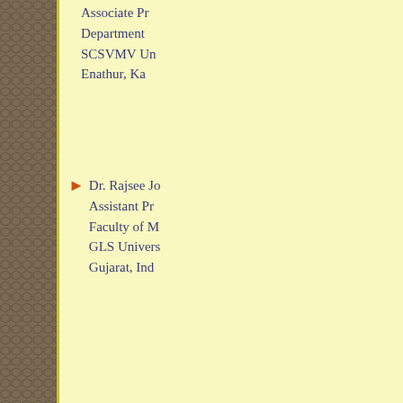Associate Professor, Department of ..., SCSVMV University, Enathur, Kanchipuram...
Dr. Rajsee Joshi, Assistant Professor, Faculty of Management, GLS University, Gujarat, India
Dr. Mohd. M..., Assistant Professor, Department of ..., College of Commerce, Taif University, Kingdom of Saudi Arabia
Dr. A. Balasundaram, Assistant Professor, Govt Arts College, Karur 63900...